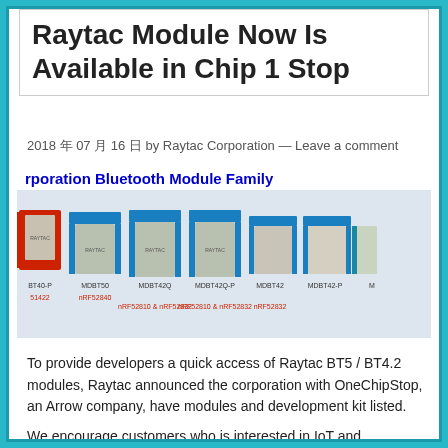Raytac Module Now Is Available in Chip 1 Stop
2018 年 07 月 16 日 by Raytac Corporation — Leave a comment
[Figure (photo): Raytac Corporation Bluetooth Module Family showing multiple BT modules: BT40-P (nRF51422), MDBT50 (nRF52840), MDBT42Q (nRF52810 & nRF52832), MDBT42Q-P (nRF52810 & nRF52832), MDBT42 (nRF52832), MDBT42-P (nRF52832), and additional module partially visible]
To provide developers a quick access of Raytac BT5 / BT4.2 modules, Raytac announced the corporation with OneChipStop, an Arrow company, have modules and development kit listed.
We encourage customers who is interested in IoT and